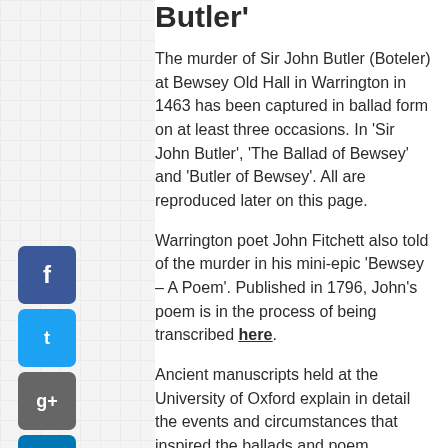Butler'
The murder of Sir John Butler (Boteler) at Bewsey Old Hall in Warrington in 1463 has been captured in ballad form on at least three occasions. In ‘Sir John Butler’, ‘The Ballad of Bewsey’ and ‘Butler of Bewsey’. All are reproduced later on this page.
Warrington poet John Fitchett also told of the murder in his mini-epic ‘Bewsey – A Poem’. Published in 1796, John’s poem is in the process of being transcribed here.
Ancient manuscripts held at the University of Oxford explain in detail the events and circumstances that inspired the ballads and poem. Although open to conjecture (William